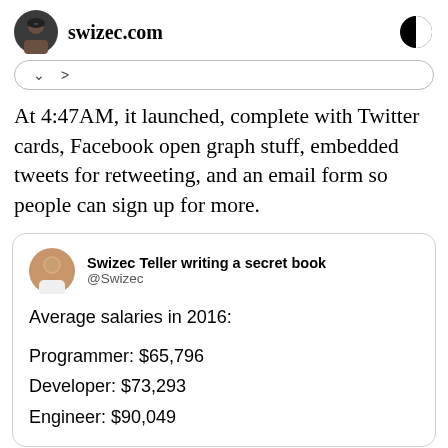swizec.com
At 4:47AM, it launched, complete with Twitter cards, Facebook open graph stuff, embedded tweets for retweeting, and an email form so people can sign up for more.
[Figure (screenshot): Embedded tweet from Swizec Teller writing a secret book (@Swizec) showing average salaries in 2016: Programmer: $65,796 / Developer: $73,293 / Engineer: $90,049]